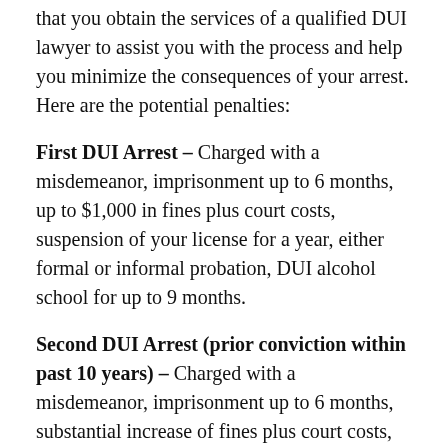that you obtain the services of a qualified DUI lawyer to assist you with the process and help you minimize the consequences of your arrest. Here are the potential penalties:
First DUI Arrest – Charged with a misdemeanor, imprisonment up to 6 months, up to $1,000 in fines plus court costs, suspension of your license for a year, either formal or informal probation, DUI alcohol school for up to 9 months.
Second DUI Arrest (prior conviction within past 10 years) – Charged with a misdemeanor, imprisonment up to 6 months, substantial increase of fines plus court costs, suspension of your license for 2 years, either formal or informal probation, up to 30 months of DUI alcohol school.
Third DUI Arrest (prior conviction within past 10 years) – Charged with a misdemeanor, imprisonment up to 1 year, and right to a jury after 6 months, ...